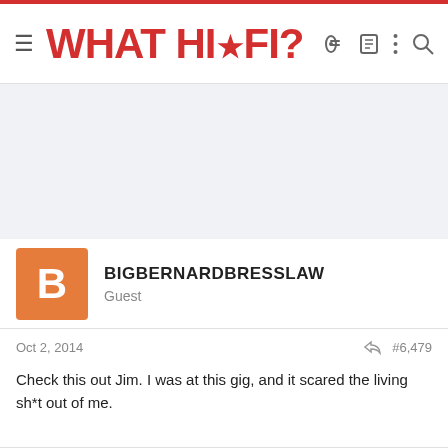WHAT HI·FI?
[Figure (other): Advertisement placeholder area, light grey background]
BIGBERNARDBRESSLAW
Guest
Oct 2, 2014  #6,479
Check this out Jim. I was at this gig, and it scared the living sh*t out of me.

https://www.youtube.com/watch?v=D7S7NRCNaQo